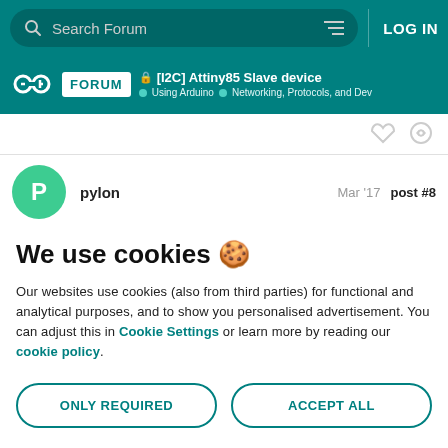Search Forum | LOG IN
[I2C] Attiny85 Slave device — Using Arduino — Networking, Protocols, and Dev
pylon   Mar '17   post #8
We use cookies 🍪
Our websites use cookies (also from third parties) for functional and analytical purposes, and to show you personalised advertisement. You can adjust this in Cookie Settings or learn more by reading our cookie policy.
ONLY REQUIRED
ACCEPT ALL